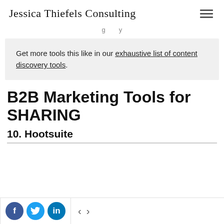Jessica Thiefels Consulting
g y
Get more tools this like in our exhaustive list of content discovery tools.
B2B Marketing Tools for SHARING
10. Hootsuite